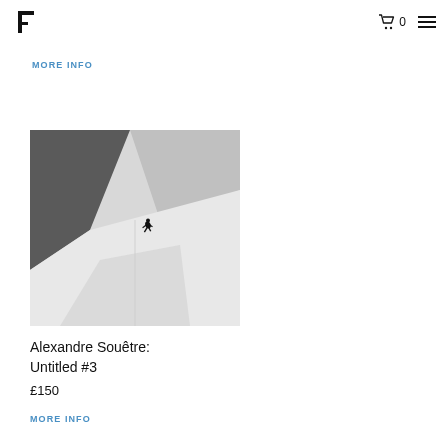Logo | Cart 0 | Menu
MORE INFO
[Figure (photo): Black and white photograph of a skateboarder mid-trick in a large concrete skate bowl or architectural space, with strong geometric lines and shadows.]
Alexandre Souêtre: Untitled #3
£150
MORE INFO